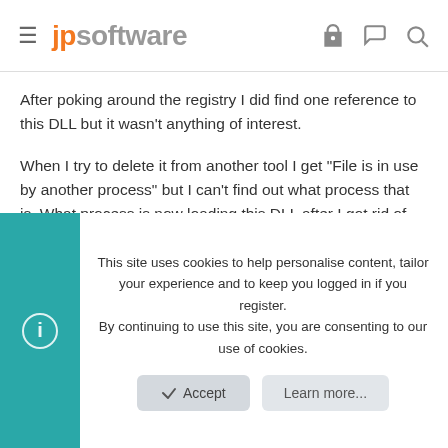jpsoftware
After poking around the registry I did find one reference to this DLL but it wasn't anything of interest.
When I try to delete it from another tool I get "File is in use by another process" but I can't find out what process that is. What process is now loading this DLL after I got rid of every other 'everything' file in the TCC21 directory?
rconn
Administrator
This site uses cookies to help personalise content, tailor your experience and to keep you logged in if you register.
By continuing to use this site, you are consenting to our use of cookies.